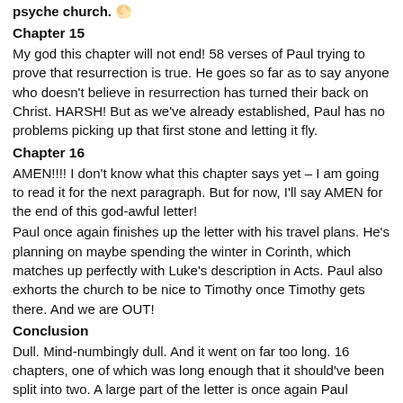psyche church. 🌕
Chapter 15
My god this chapter will not end! 58 verses of Paul trying to prove that resurrection is true. He goes so far as to say anyone who doesn't believe in resurrection has turned their back on Christ. HARSH! But as we've already established, Paul has no problems picking up that first stone and letting it fly.
Chapter 16
AMEN!!!! I don't know what this chapter says yet – I am going to read it for the next paragraph. But for now, I'll say AMEN for the end of this god-awful letter!
Paul once again finishes up the letter with his travel plans. He's planning on maybe spending the winter in Corinth, which matches up perfectly with Luke's description in Acts. Paul also exhorts the church to be nice to Timothy once Timothy gets there. And we are OUT!
Conclusion
Dull. Mind-numbingly dull. And it went on far too long. 16 chapters, one of which was long enough that it should've been split into two. A large part of the letter is once again Paul proclaiming himself to be the head of the church, and trying to justify that. And, of course, changing the teachings of Christ to